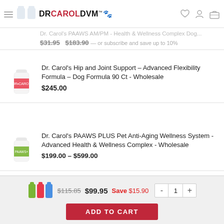DR CAROL DVM™🐾
$31.95 – $183.90 — or subscribe and save up to 10%
[Figure (photo): White bottle with pink label - Dr. Carol's Hip and Joint product]
Dr. Carol's Hip and Joint Support – Advanced Flexibility Formula – Dog Formula 90 Ct - Wholesale
$245.00
[Figure (photo): White bottle with green label - Dr. Carol's PAAWS PLUS product]
Dr. Carol's PAAWS PLUS Pet Anti-Aging Wellness System - Advanced Health & Wellness Complex - Wholesale
$199.00 – $599.00
[Figure (photo): Two bottles with orange labels - Dr. Carol's VitaLife product]
Dr. Carol's VitaLife Health & Wellness Complex AM/PM Dog Formula - Wholesale
$285.00 – $665.00
[Figure (photo): Three small bottles with green, pink, blue labels]
$115.85  $99.95  Save $15.90
ADD TO CART